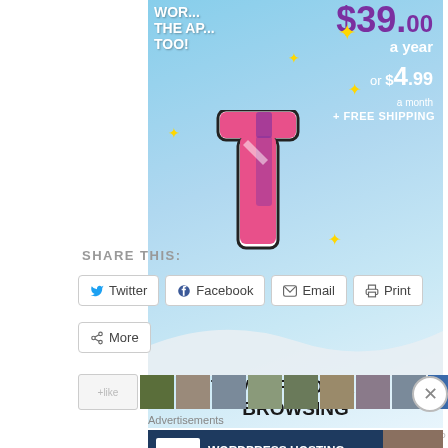[Figure (screenshot): Tumblr Ad-Free Browsing advertisement banner showing Tumblr logo, pricing $39.00 a year or $4.99 a month + Free Shipping]
REPORT THIS AD
SHARE THIS:
[Figure (screenshot): Share buttons row: Twitter, Facebook, Email, Print]
[Figure (screenshot): More share button]
[Figure (screenshot): Thumbnail image strip at bottom]
Advertisements
[Figure (screenshot): WordPress Hosting advertisement: WORDPRESS HOSTING THAT MEANS BUSINESS.]